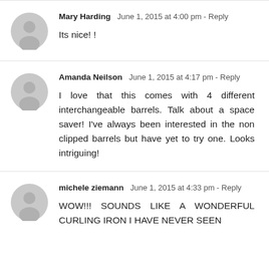Mary Harding  June 1, 2015 at 4:00 pm - Reply
Its nice! !
Amanda Neilson  June 1, 2015 at 4:17 pm - Reply
I love that this comes with 4 different interchangeable barrels. Talk about a space saver! I've always been interested in the non clipped barrels but have yet to try one. Looks intriguing!
michele ziemann  June 1, 2015 at 4:33 pm - Reply
WOW!!! SOUNDS LIKE A WONDERFUL CURLING IRON I HAVE NEVER SEEN